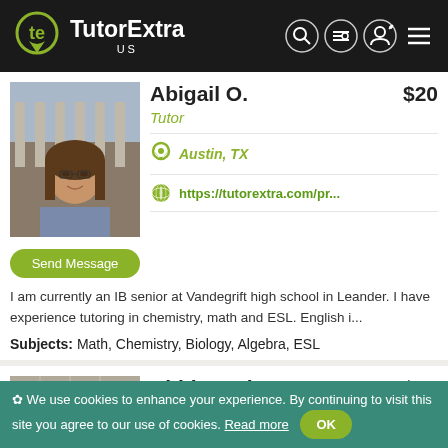[Figure (logo): TutorExtra US logo with green icon and white text on black header bar]
[Figure (photo): Profile photo of Abigail O., a young woman with long brown hair and glasses standing in front of a building]
Abigail O.
$20
Tutor
Austin, TX
https://tutorextra.com/pr...
Send Message
I am currently an IB senior at Vandegrift high school in Leander. I have experience tutoring in chemistry, math and ESL. English i...
Subjects: Math, Chemistry, Biology, Algebra, ESL
[Figure (photo): Profile photo of Abhisaradev M., a young man with glasses]
Abhisaradev M.
$25
Tutor
We use cookies to enhance your experience. By continuing to visit this site you agree to our use of cookies. Read more OK